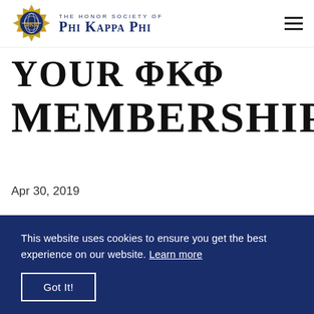THE HONOR SOCIETY OF PHI KAPPA PHI
YOUR ΦΚΦ MEMBERSHIP
Apr 30, 2019
You've
[Figure (screenshot): Video thumbnail with play button for Phi Kappa Phi membership video]
This website uses cookies to ensure you get the best experience on our website. Learn more
Got It!